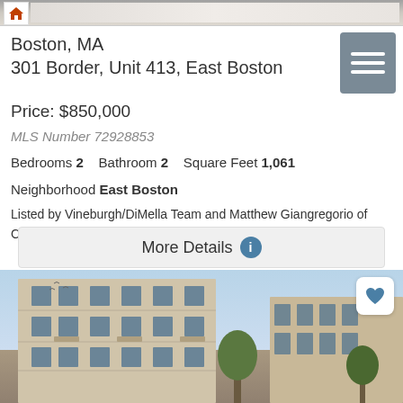[Figure (photo): Top partial photo of a room interior, cropped at top of page]
Boston, MA
301 Border, Unit 413, East Boston
Price: $850,000
MLS Number 72928853
Bedrooms 2    Bathroom 2    Square Feet 1,061
Neighborhood East Boston
Listed by Vineburgh/DiMella Team and Matthew Giangregorio of Charlesgate Realty Group,llc
[Figure (screenshot): More Details button with info icon]
[Figure (photo): Exterior photo of modern multi-story residential building with blue sky background, with heart/favorite button overlay]